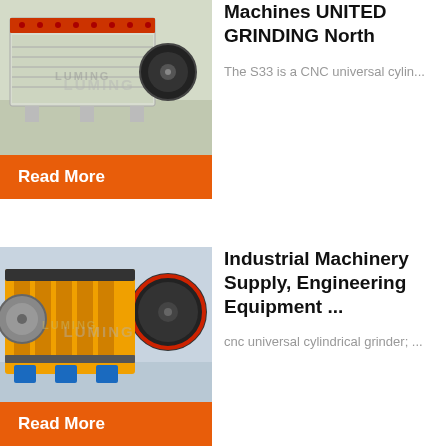[Figure (photo): Industrial impact crusher machine, light green/white colored, in a factory setting]
Machines UNITED GRINDING North
The S33 is a CNC universal cylin...
Read More
[Figure (photo): Yellow industrial jaw crusher machine with blue base stands in factory]
Industrial Machinery Supply, Engineering Equipment ...
cnc universal cylindrical grinder; ...
Read More